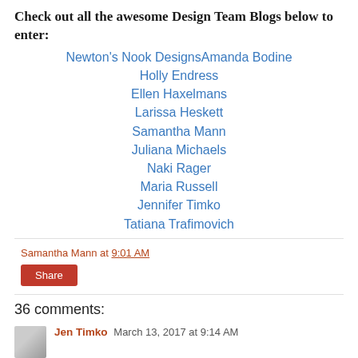Check out all the awesome Design Team Blogs below to enter:
Newton's Nook DesignsAmanda Bodine
Holly Endress
Ellen Haxelmans
Larissa Heskett
Samantha Mann
Juliana Michaels
Naki Rager
Maria Russell
Jennifer Timko
Tatiana Trafimovich
Samantha Mann at 9:01 AM
Share
36 comments:
Jen Timko  March 13, 2017 at 9:14 AM